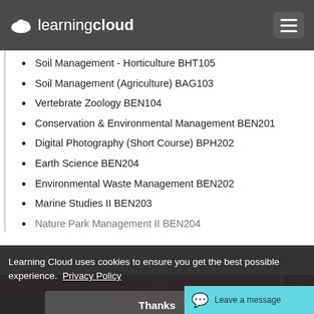learning cloud
Soil Management - Horticulture BHT105
Soil Management (Agriculture) BAG103
Vertebrate Zoology BEN104
Conservation & Environmental Management BEN201
Digital Photography (Short Course) BPH202
Earth Science BEN204
Environmental Waste Management BEN202
Marine Studies II BEN203
Nature Park Management II BEN204
Learning Cloud uses cookies to ensure you get the best possible experience. Privacy Policy
Thanks
Free Info Pack
Enquire Now
Leave a message